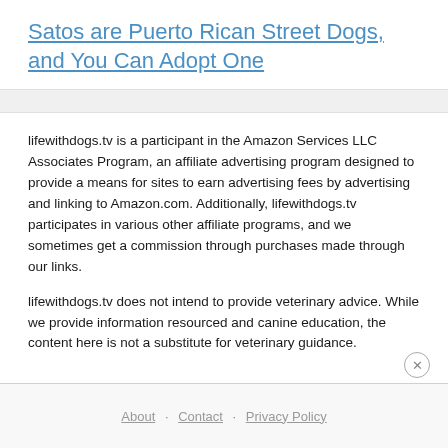Satos are Puerto Rican Street Dogs, and You Can Adopt One
lifewithdogs.tv is a participant in the Amazon Services LLC Associates Program, an affiliate advertising program designed to provide a means for sites to earn advertising fees by advertising and linking to Amazon.com. Additionally, lifewithdogs.tv participates in various other affiliate programs, and we sometimes get a commission through purchases made through our links.
lifewithdogs.tv does not intend to provide veterinary advice. While we provide information resourced and canine education, the content here is not a substitute for veterinary guidance.
About · Contact · Privacy Policy